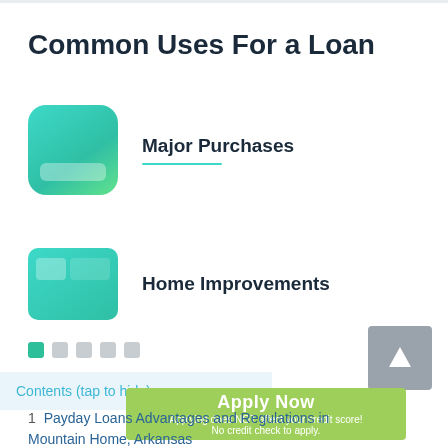Common Uses For a Loan
Major Purchases
Home Improvements
Contents (tap to hide) ^
Apply Now
Applying does NOT affect your credit score!
No credit check to apply.
1  Payday Loans Advantages and Regulations in Mountain Home, Arkansas